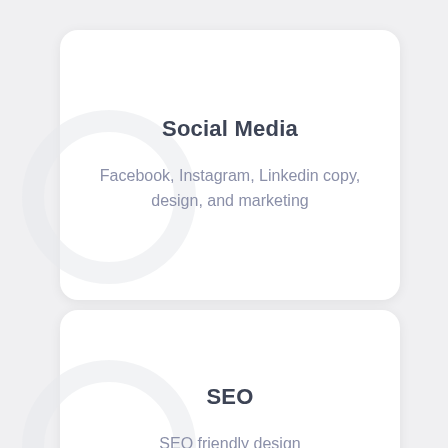Social Media
Facebook, Instagram, Linkedin copy, design, and marketing
SEO
SEO friendly design